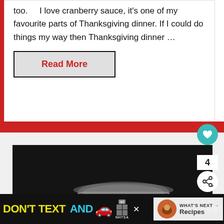too. I love cranberry sauce, it's one of my favourite parts of Thanksgiving dinner. If I could do things my way then Thanksgiving dinner …
Read More
[Figure (photo): Photo of a glass jar with golden/orange sauce or spread on a dark background, with a cracker or bread visible to the left.]
4
WHAT'S NEXT → Recipes
[Figure (other): Advertisement banner: DON'T TEXT AND [car emoji] with ad badge and NHTSA logo on dark background]